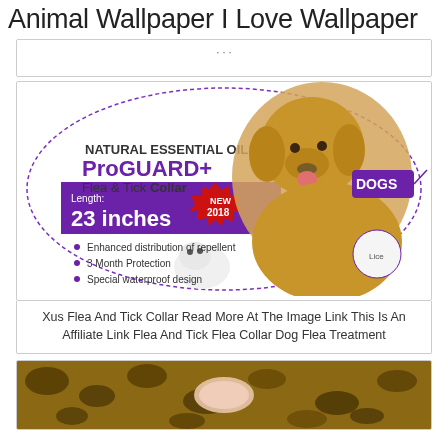Animal Wallpaper I Love Wallpaper
[Figure (photo): ProGuard+ Flea & Tick Collar product advertisement. White circular background with a golden retriever dog. Text: NATURAL ESSENTIAL OILS, ProGUARD+ Flea & Tick Collar, Length: 23 inches, NEW 2018, DOGS, Enhanced distribution of repellent, 3 Month Protection, Special waterproof design. Purple/violet color scheme with red starburst for NEW 2018 badge.]
Xus Flea And Tick Collar Read More At The Image Link This Is An Affiliate Link Flea And Tick Flea Collar Dog Flea Treatment
[Figure (photo): Close-up photo of a spotted/tabby cat with a human hand visible, brown and black pattern fur.]